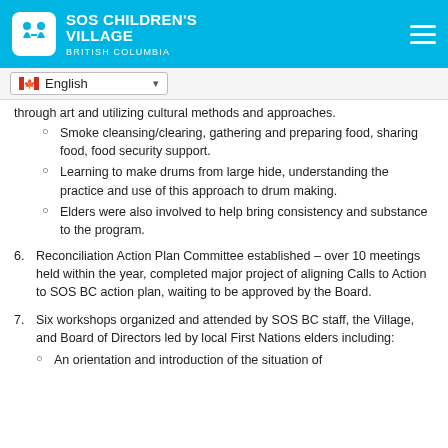SOS CHILDREN'S VILLAGE BRITISH COLUMBIA
through art and utilizing cultural methods and approaches.
Smoke cleansing/clearing, gathering and preparing food, sharing food, food security support.
Learning to make drums from large hide, understanding the practice and use of this approach to drum making.
Elders were also involved to help bring consistency and substance to the program.
Reconciliation Action Plan Committee established – over 10 meetings held within the year, completed major project of aligning Calls to Action to SOS BC action plan, waiting to be approved by the Board.
Six workshops organized and attended by SOS BC staff, the Village, and Board of Directors led by local First Nations elders including:
An orientation and introduction of the situation of